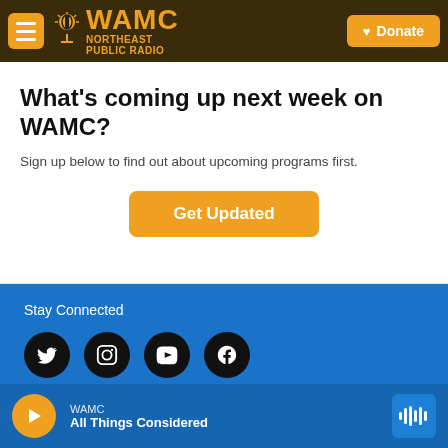WAMC Northeast Public Radio — Donate
What's coming up next week on WAMC?
Sign up below to find out about upcoming programs first.
Get Updated
Stay Connected
[Figure (other): Social media icons: Twitter, Instagram, YouTube, Facebook]
© 2022
WAMC
All Things Considered